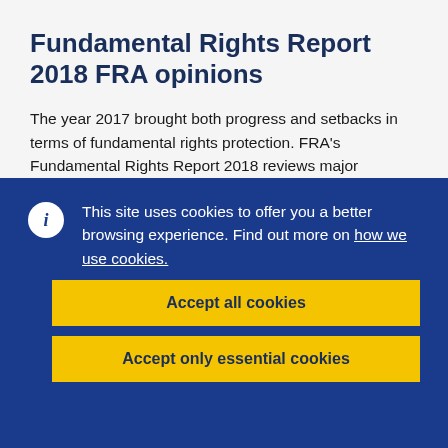Fundamental Rights Report 2018 FRA opinions
The year 2017 brought both progress and setbacks in terms of fundamental rights protection. FRA's Fundamental Rights Report 2018 reviews major developments in the field, identifying both achievements and remaining areas of concern.
This site uses cookies to offer you a better browsing experience. Find out more on how we use cookies.
Accept all cookies
Accept only essential cookies